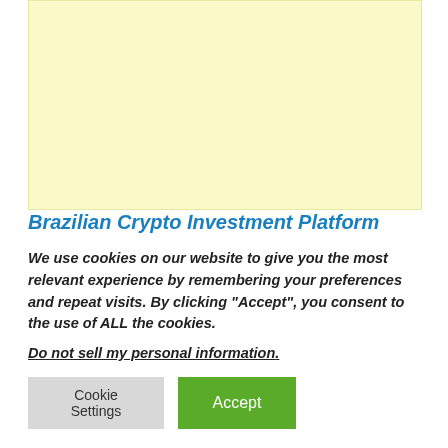[Figure (other): Yellow/cream colored advertisement placeholder block]
Brazilian Crypto Investment Platform
We use cookies on our website to give you the most relevant experience by remembering your preferences and repeat visits. By clicking “Accept”, you consent to the use of ALL the cookies.
Do not sell my personal information.
Cookie Settings
Accept